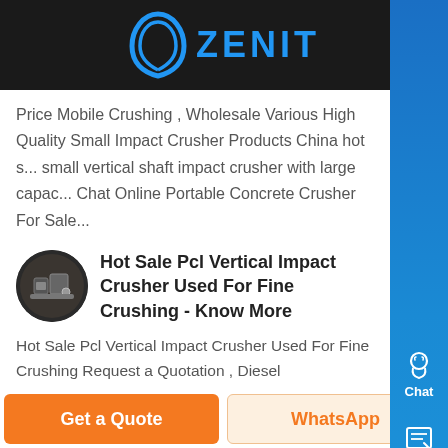ZENIT
Price Mobile Crushing , Wholesale Various High Quality Small Impact Crusher Products China hot s... small vertical shaft impact crusher with large capac... Chat Online Portable Concrete Crusher For Sale...
Hot Sale Pcl Vertical Impact Crusher Used For Fine Crushing - Know More
Hot Sale Pcl Vertical Impact Crusher Used For Fine Crushing Request a Quotation , Diesel crusher,Spri... cone crusher,Sand production line,, Great Wall Hea... Industry is a professional manufacturer of stone crushers in China, we supply various stone crusher,
Get a Quote | WhatsApp